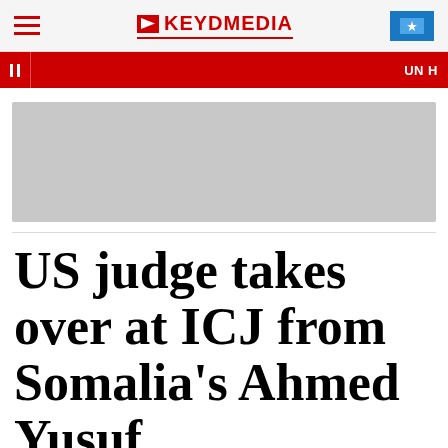KEYDMEDIA
[Figure (screenshot): Red ticker bar with pause button and UN text on right side]
[Figure (other): Gray advertisement placeholder block]
US judge takes over at ICJ from Somalia's Ahmed Yusuf